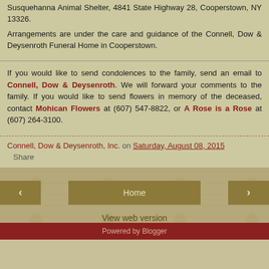Susquehanna Animal Shelter, 4841 State Highway 28, Cooperstown, NY 13326.
Arrangements are under the care and guidance of the Connell, Dow & Deysenroth Funeral Home in Cooperstown.
If you would like to send condolences to the family, send an email to Connell, Dow & Deysenroth. We will forward your comments to the family. If you would like to send flowers in memory of the deceased, contact Mohican Flowers at (607) 547-8822, or A Rose is a Rose at (607) 264-3100.
Connell, Dow & Deysenroth, Inc. on Saturday, August 08, 2015
Share
Home
View web version
Powered by Blogger